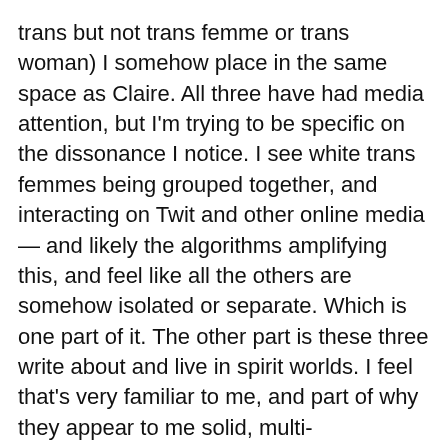trans but not trans femme or trans woman) I somehow place in the same space as Claire. All three have had media attention, but I'm trying to be specific on the dissonance I notice. I see white trans femmes being grouped together, and interacting on Twit and other online media — and likely the algorithms amplifying this, and feel like all the others are somehow isolated or separate. Which is one part of it. The other part is these three write about and live in spirit worlds. I feel that's very familiar to me, and part of why they appear to me solid, multi-dimensional, in full colour. Part of why I'm drawn to them — even when it's scary, 'cos just reading of spirit worlds draws attention to me, wakes the spirit worlds I know.